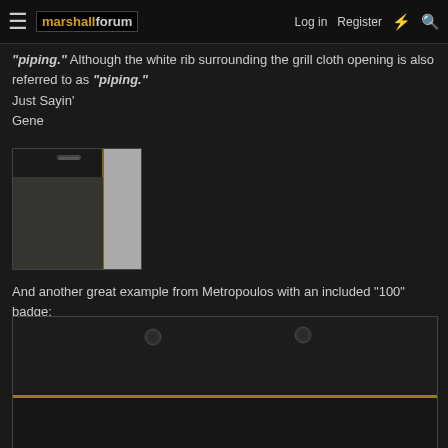marshallforum | Log in | Register
"piping." Although the white rib surrounding the grill cloth opening is also referred to as "piping."
Just Sayin'
Gene
[Figure (photo): Close-up photo of a Marshall amplifier cabinet corner showing black tolex covering and gold/brown piping trim along the edge, with grill cloth visible]
And another great example from Metropoulos with an included "100" badge:
[Figure (photo): Partial photo of a Marshall amplifier cabinet top showing black textured tolex and a thin gold/brown piping strip along the top edge]